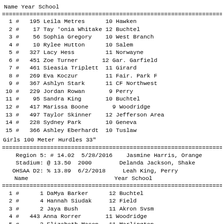|  |  | Name | Year | School |
| --- | --- | --- | --- | --- |
| 1 | # | 195 Leila Metres | 10 | Hawken |
| 2 | # | 17 Tay 'onia Whitake | 12 | Buchtel |
| 3 | # | 56 Sophia Gregory | 10 | West Branch |
| 4 | # | 10 Rylee Hutton | 10 | Salem |
| 5 | # | 327 Lacy Hess | 11 | Norwayne |
| 6 | # | 451 Zoe Turner | 12 | Gar. Garfield |
| 7 | # | 461 Sieasia Triplett | 11 | Girard |
| 8 | # | 269 Eva Koczur | 11 | Fair. Park F |
| 9 | # | 367 Ashlyn Stark | 11 | CF Northwest |
| 10 | # | 229 Jordan Rowan | 9 | Perry |
| 11 | # | 95 Sandra King | 10 | Buchtel |
| 12 | # | 417 Marissa Boone | 9 | Woodridge |
| 13 | # | 497 Taylor Skinner | 12 | Jefferson Area |
| 14 | # | 228 Sydney Park | 10 | Geneva |
| 15 | # | 366 Ashley Eberhardt | 10 | Tuslaw |
Girls 100 Meter Hurdles 33"
| Region 5: | # | 14.02 | 5/28/2016 | Jasmine Harris, Orange |
| --- | --- | --- | --- | --- |
| Stadium: | @ | 13.50 | 2000 | Delanda Jackson, Shake |
| OHSAA D2: | % | 13.89 | 6/2/2018 | Leah King, Perry |
| Name |  |  | Year | School |
|  |  | Name | Year | School |
| --- | --- | --- | --- | --- |
| 1 | # | 1 DaMya Barker | 12 | Buchtel |
| 2 | # | 4 Hannah Siudak | 12 | Field |
| 3 | # | 2 Jaya Bush | 11 | Akron Svsm |
| 4 | # | 443 Anna Rorrer | 11 | Woodridge |
| 5 | # | 3 Elizabeth Mason | 11 | Marlington |